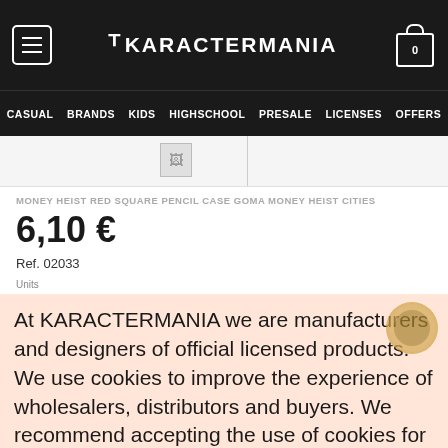KARACTERMANIA — navigation header with logo, hamburger menu, cart (0), and nav links: CASUAL, BRANDS, KIDS, HIGHSCHOOL, PRESALE, LICENSES, OFFERS
[Figure (screenshot): Partial product image thumbnail placeholder (broken image icon)]
MONEY HEIST RED SQUARE PENCIL CASE GOMA MONEY HEIST CITIES
6,10 €
Ref. 02033
Units
At KARACTERMANIA we are manufacturers and designers of official licensed products. We use cookies to improve the experience of wholesalers, distributors and buyers. We recommend accepting the use of cookies for navigation according to your preferences (View cookie policy).
ACCEPT COOKIES
& RETURNS
Square Pencil Case Goma Money Heist Cities. Money Heist. Long pencil